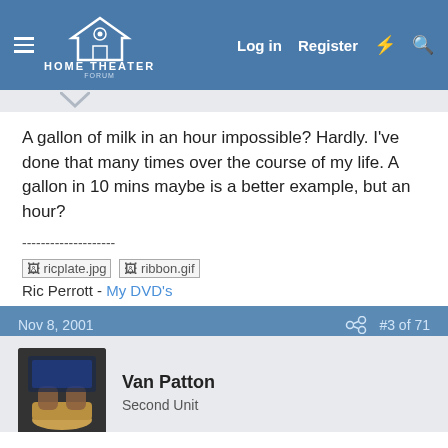Home Theater Forum — Log in | Register
A gallon of milk in an hour impossible? Hardly. I've done that many times over the course of my life. A gallon in 10 mins maybe is a better example, but an hour?
--------------------
ricplate.jpg  ribbon.gif
Ric Perrott - My DVD's
Nov 8, 2001   #3 of 71
Van Patton
Second Unit
Well I had a friend try the milk trick and he did it in about 30 minutes. Well in around 5 minutes......it was all up again. I have heard that if you try to drink over a gallon it will curdle in your stomach. The cracker trick doesn't sound too hard